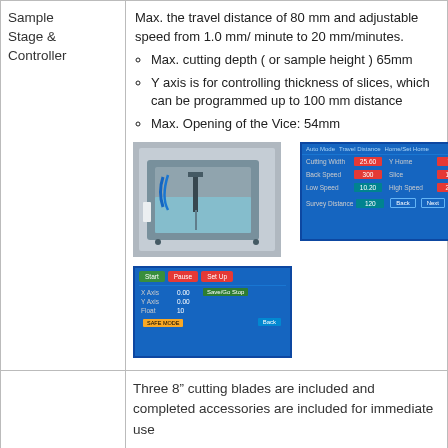|  |  |
| --- | --- |
| Sample Stage & Controller | Max. the travel distance of 80 mm and adjustable speed from 1.0 mm/minute to 20 mm/minutes.
• Max. cutting depth ( or sample height ) 65mm
• Y axis is for controlling thickness of slices, which can be programmed up to 100 mm distance
• Max. Opening of the Vice: 54mm
[images of machine and controller screens] |
|  | Three 8" cutting blades are included and completed accessories are included for immediate use |
Max. the travel distance of 80 mm and adjustable speed from 1.0 mm/minute to 20 mm/minutes.
Max. cutting depth ( or sample height ) 65mm
Y axis is for controlling thickness of slices, which can be programmed up to 100 mm distance
Max. Opening of the Vice: 54mm
[Figure (photo): Photo of sample stage machine (cutting device) interior showing mechanical components]
[Figure (photo): Two controller touchscreen displays showing cutting speed settings and axis position controls]
Three 8" cutting blades are included and completed accessories are included for immediate use